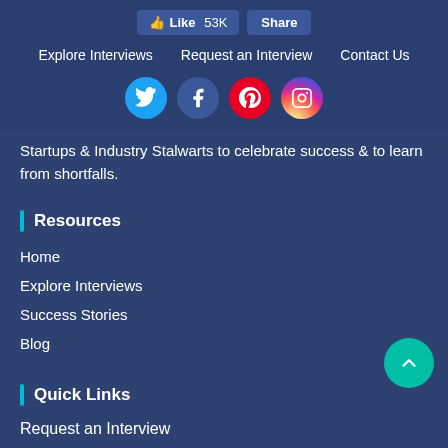[Figure (screenshot): Facebook Like (53K) and Share buttons]
Explore Interviews  Request an Interview  Contact Us
[Figure (infographic): Social media icons: Twitter, Facebook, Pinterest, Instagram]
Startups & Industry Stalwarts to celebrate success & to learn from shortfalls.
Resources
Home
Explore Interviews
Success Stories
Blog
Quick Links
Request an Interview